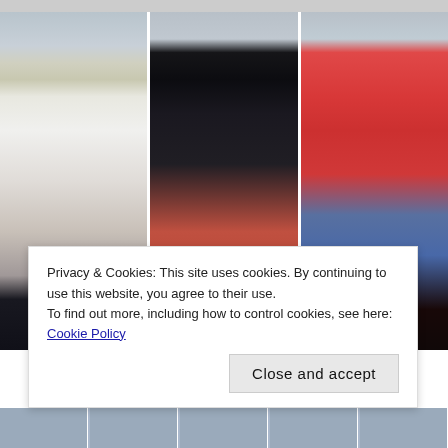[Figure (photo): Three male fashion models walking on a runway in front of a decorative wall. Left model wears a white v-neck sweater with navy shorts and sunglasses. Center model wears a black double-breasted blazer with red patterned trousers and thick-framed glasses. Right model wears a red shirt over a striped top with blue shorts and sunglasses.]
Privacy & Cookies: This site uses cookies. By continuing to use this website, you agree to their use.
To find out more, including how to control cookies, see here: Cookie Policy
Close and accept